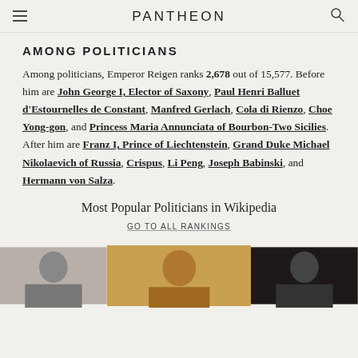PANTHEON
AMONG POLITICIANS
Among politicians, Emperor Reigen ranks 2,678 out of 15,577. Before him are John George I, Elector of Saxony, Paul Henri Balluet d'Estournelles de Constant, Manfred Gerlach, Cola di Rienzo, Choe Yong-gon, and Princess Maria Annunciata of Bourbon-Two Sicilies. After him are Franz I, Prince of Liechtenstein, Grand Duke Michael Nikolaevich of Russia, Crispus, Li Peng, Joseph Babinski, and Hermann von Salza.
Most Popular Politicians in Wikipedia
GO TO ALL RANKINGS
[Figure (photo): Three portrait photographs/paintings of politicians shown side by side at the bottom of the page.]